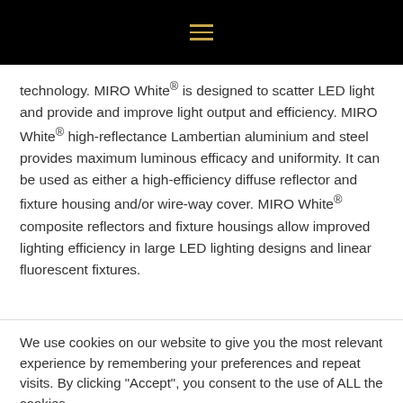≡
technology. MIRO White® is designed to scatter LED light and provide and improve light output and efficiency. MIRO White® high-reflectance Lambertian aluminium and steel provides maximum luminous efficacy and uniformity. It can be used as either a high-efficiency diffuse reflector and fixture housing and/or wire-way cover. MIRO White® composite reflectors and fixture housings allow improved lighting efficiency in large LED lighting designs and linear fluorescent fixtures.
We use cookies on our website to give you the most relevant experience by remembering your preferences and repeat visits. By clicking "Accept", you consent to the use of ALL the cookies.
Cookie settings
ACCEPT